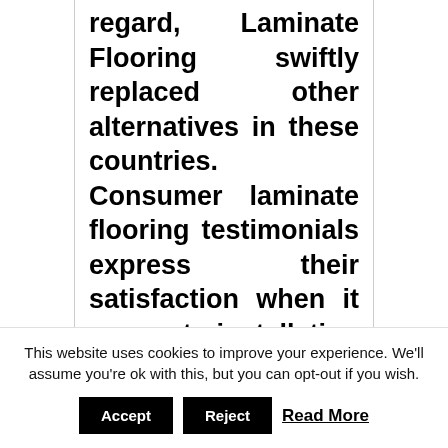regard, Laminate Flooring swiftly replaced other alternatives in these countries. Consumer laminate flooring testimonials express their satisfaction when it comes to installation which is straightforward and you can do it for oneself without
This website uses cookies to improve your experience. We'll assume you're ok with this, but you can opt-out if you wish.